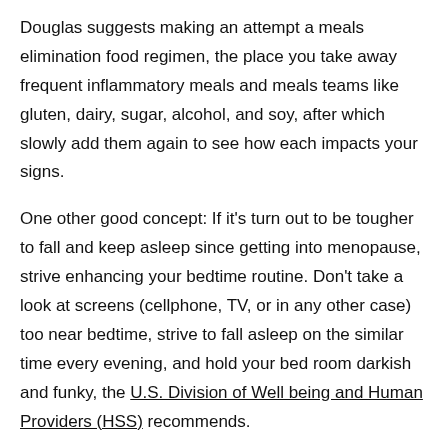Douglas suggests making an attempt a meals elimination food regimen, the place you take away frequent inflammatory meals and meals teams like gluten, dairy, sugar, alcohol, and soy, after which slowly add them again to see how each impacts your signs.
One other good concept: If it's turn out to be tougher to fall and keep asleep since getting into menopause, strive enhancing your bedtime routine. Don't take a look at screens (cellphone, TV, or in any other case) too near bedtime, strive to fall asleep on the similar time every evening, and hold your bed room darkish and funky, the U.S. Division of Well being and Human Providers (HSS) recommends.
Hit the gymnasium.
Not solely can commonly hitting the gymnasium aid you sleep higher, however it may possibly additionally enhance your sizzling flashes. In a single research, girls who exercised decreased the